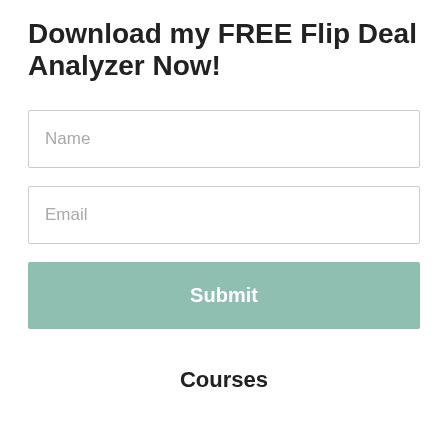Download my FREE Flip Deal Analyzer Now!
Name
Email
Submit
Courses